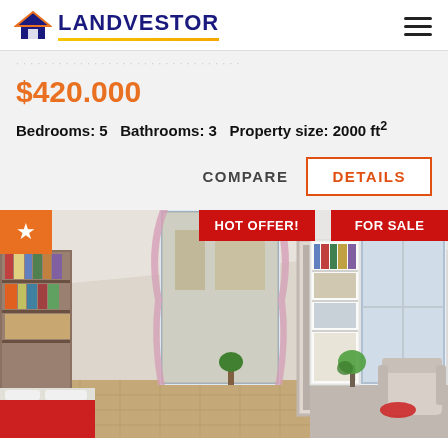[Figure (logo): LANDVESTOR logo with house icon, blue text, yellow underline]
$420.000
Bedrooms: 5   Bathrooms: 3   Property size: 2000 ft²
COMPARE
DETAILS
[Figure (photo): Interior room photo showing a bedroom/study with pink curtains, bookshelf, wooden desk, red bedspread, and a second room visible with white bookcase, armchair, and bright windows. Badges: HOT OFFER! FOR SALE, star icon.]